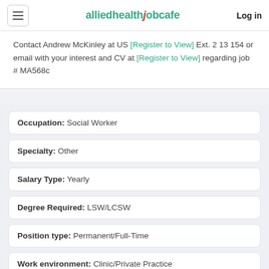alliedhealthjobcafe  Log in
Contact Andrew McKinley at US [Register to View] Ext. 2 13 154 or email with your interest and CV at [Register to View] regarding job # MA568c
Occupation: Social Worker
Specialty: Other
Salary Type: Yearly
Degree Required: LSW/LCSW
Position type: Permanent/Full-Time
Work environment: Clinic/Private Practice